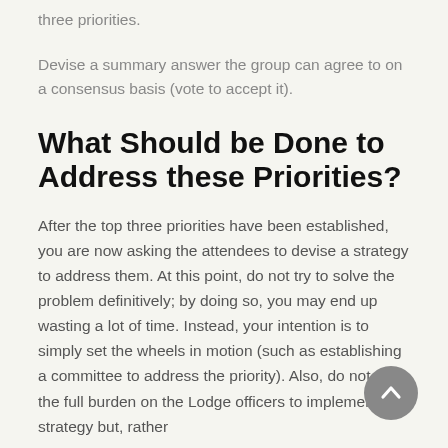three priorities.
Devise a summary answer the group can agree to on a consensus basis (vote to accept it).
What Should be Done to Address these Priorities?
After the top three priorities have been established, you are now asking the attendees to devise a strategy to address them. At this point, do not try to solve the problem definitively; by doing so, you may end up wasting a lot of time. Instead, your intention is to simply set the wheels in motion (such as establishing a committee to address the priority). Also, do not put the full burden on the Lodge officers to implement the strategy but, rather